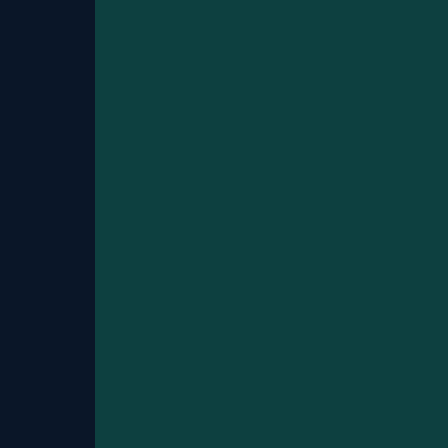Trying to
Trying to
– The St
Which W
Hot Han
Flipagra
Trying to
Top 100
~ Trying
Do You
My Life
Video M
Trying to
Moment
02/
9 pages